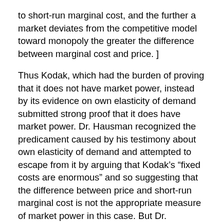to short-run marginal cost, and the further a market deviates from the competitive model toward monopoly the greater the difference between marginal cost and price. ]
Thus Kodak, which had the burden of proving that it does not have market power, instead by its evidence on own elasticity of demand submitted strong proof that it does have market power. Dr. Hausman recognized the predicament caused by his testimony about own elasticity of demand and attempted to escape from it by arguing that Kodak’s “fixed costs are enormous” and so suggesting that the difference between price and short-run marginal cost is not the appropriate measure of market power in this case. But Dr. Hausman neither had nor claimed any expertise as to Kodak’s actual fixed costs. Aside from a second-hand recitation of an undocumented claim of R&D costs of “8 or 9 percent”, he offered no figures at all. More significantly Kodak, which has figures both precisely and readily available, flatly refused to produce them. Indeed, when, during the course of the hearing the government asked Kodak to disclose its profit